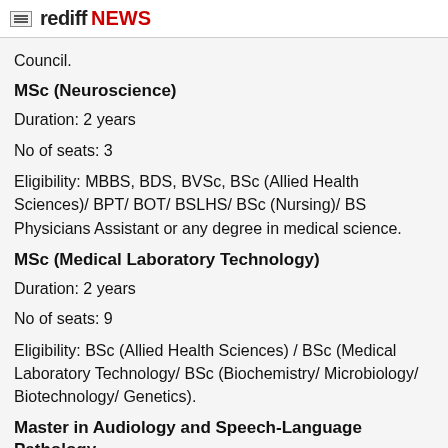rediff NEWS
Council.
MSc (Neuroscience)
Duration: 2 years
No of seats: 3
Eligibility: MBBS, BDS, BVSc, BSc (Allied Health Sciences)/ BPT/ BOT/ BSLHS/ BSc (Nursing)/ BS Physicians Assistant or any degree in medical science.
MSc (Medical Laboratory Technology)
Duration: 2 years
No of seats: 9
Eligibility: BSc (Allied Health Sciences) / BSc (Medical Laboratory Technology/ BSc (Biochemistry/ Microbiology/ Biotechnology/ Genetics).
Master in Audiology and Speech-Language Pathology
Duration: 2 years